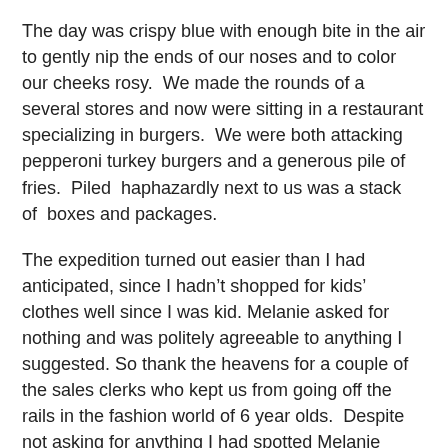The day was crispy blue with enough bite in the air to gently nip the ends of our noses and to color our cheeks rosy.  We made the rounds of a several stores and now were sitting in a restaurant specializing in burgers.  We were both attacking pepperoni turkey burgers and a generous pile of fries.  Piled  haphazardly next to us was a stack of  boxes and packages.
The expedition turned out easier than I had anticipated, since I hadn't shopped for kids' clothes well since I was kid. Melanie asked for nothing and was politely agreeable to anything I suggested. So thank the heavens for a couple of the sales clerks who kept us from going off the rails in the fashion world of 6 year olds.  Despite not asking for anything I had spotted Melanie wistfully stroking a pale tinker bell pink sweater of soft angora with tiny seed pearls decorating a cowl collar.  When she wasn't looking, I bought it
"Now Melanie wore this," I said, and I watched her eyes open wide it